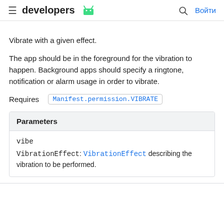developers [android logo] | Войти
Vibrate with a given effect.
The app should be in the foreground for the vibration to happen. Background apps should specify a ringtone, notification or alarm usage in order to vibrate.
Requires  Manifest.permission.VIBRATE
| Parameters |
| --- |
| vibe | VibrationEffect: VibrationEffect describing the vibration to be performed. |